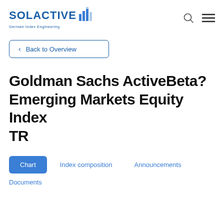SOLACTIVE German Index Engineering
< Back to Overview
Goldman Sachs ActiveBeta? Emerging Markets Equity Index TR
Chart
Index composition
Announcements
Documents